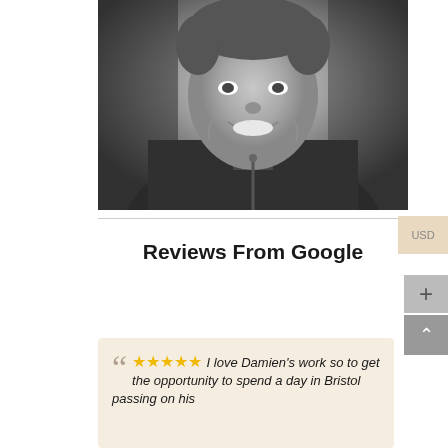[Figure (photo): Black and white portrait photo of a smiling man wearing a dark jacket and plaid shirt, photographed from slightly above]
Reviews From Google
““ ★★★★★ I love Damien's work so to get the opportunity to spend a day in Bristol passing on his